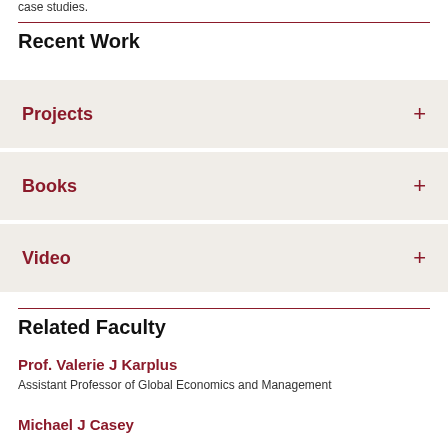case studies.
Recent Work
Projects
Books
Video
Related Faculty
Prof. Valerie J Karplus
Assistant Professor of Global Economics and Management
Michael J Casey